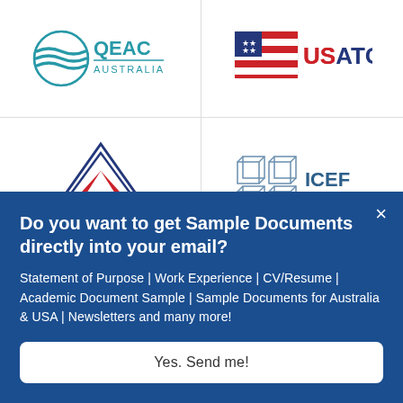[Figure (logo): QEAC Australia logo - teal circular globe icon with QEAC text and AUSTRALIA underneath]
[Figure (logo): USATC logo - American flag graphic with USATC text in red and navy]
[Figure (logo): AAFRI Associate Member logo - triangle mountain shape in red, white, blue with kangaroo silhouette]
[Figure (logo): ICEF Trained Agent Counselor logo - geometric cube outlines with ICEF text and Trained Agent Counselor subtitle]
Do you want to get Sample Documents directly into your email?
Statement of Purpose | Work Experience | CV/Resume | Academic Document Sample | Sample Documents for Australia & USA | Newsletters and many more!
Yes. Send me!